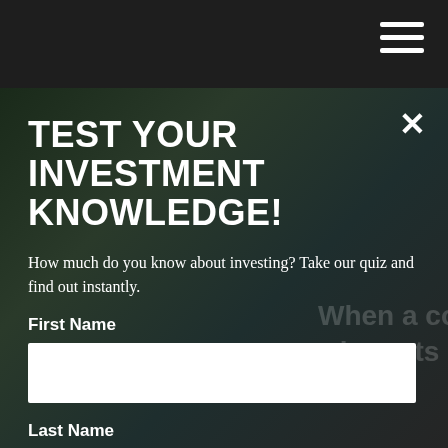Navigation bar with hamburger menu icon
[Figure (screenshot): Dark background with partial text overlay reading 'When a co... who gets' in white, simulating a quiz or educational content screenshot]
TEST YOUR INVESTMENT KNOWLEDGE!
How much do you know about investing? Take our quiz and find out instantly.
First Name
Last Name